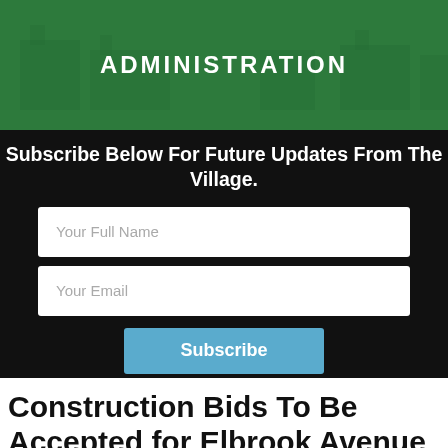ADMINISTRATION
Subscribe Below For Future Updates From The Village.
[Figure (screenshot): Web form with 'Your Full Name' input field, 'Your Email' input field, and a blue 'Subscribe' button on a black background]
Construction Bids To Be Accepted for Elbrook Avenue Road Project